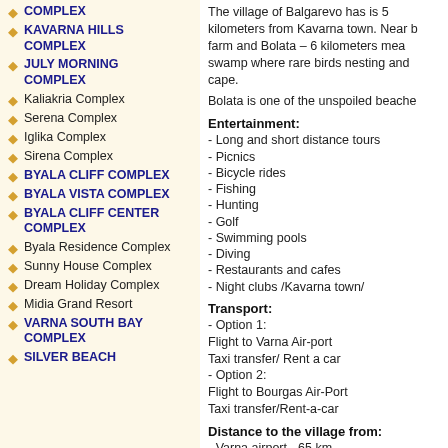COMPLEX
KAVARNA HILLS COMPLEX
JULY MORNING COMPLEX
Kaliakria Complex
Serena Complex
Iglika Complex
Sirena Complex
BYALA CLIFF COMPLEX
BYALA VISTA COMPLEX
BYALA CLIFF CENTER COMPLEX
Byala Residence Complex
Sunny House Complex
Dream Holiday Complex
Midia Grand Resort
VARNA SOUTH BAY COMPLEX
SILVER BEACH
The village of Balgarevo has is 5 kilometers from Kavarna town. Near by farm and Bolata – 6 kilometers meadow swamp where rare birds nesting and cape.
Bolata is one of the unspoiled beaches.
Entertainment:
- Long and short distance tours
- Picnics
- Bicycle rides
- Fishing
- Hunting
- Golf
- Swimming pools
- Diving
- Restaurants and cafes
- Night clubs /Kavarna town/
Transport:
- Option 1:
Flight to Varna Air-port
Taxi transfer/ Rent a car
- Option 2:
Flight to Bourgas Air-Port
Taxi transfer/Rent-a-car
Distance to the village from:
- Varna airport - 65 km.
- Kavarna - 6 km.